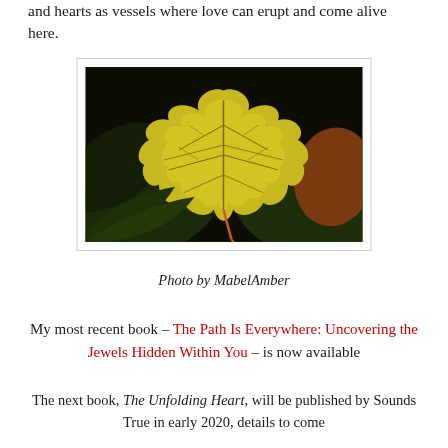and hearts as vessels where love can erupt and come alive here.
[Figure (photo): Close-up photograph of an autumn maple leaf with yellow and green coloring and visible veins, against a dark background with other leaves]
Photo by MabelAmber
My most recent book – The Path Is Everywhere: Uncovering the Jewels Hidden Within You – is now available
The next book, The Unfolding Heart, will be published by Sounds True in early 2020, details to come